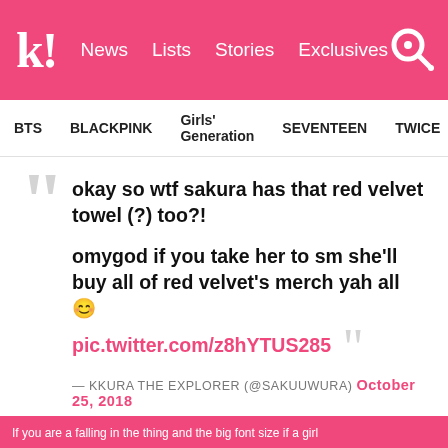K! News Lists Stories Exclusives
BTS   BLACKPINK   Girls' Generation   SEVENTEEN   TWICE
okay so wtf sakura has that red velvet towel (?) too?!

omygod if you take her to sm she'll buy all of red velvet's merch yah all 🌐
pic.twitter.com/z8hYTUS285

— KKURA THE EXPLORER (@sakuuwura) October 25, 2018
If you are a fellow in the thing and the big font size is